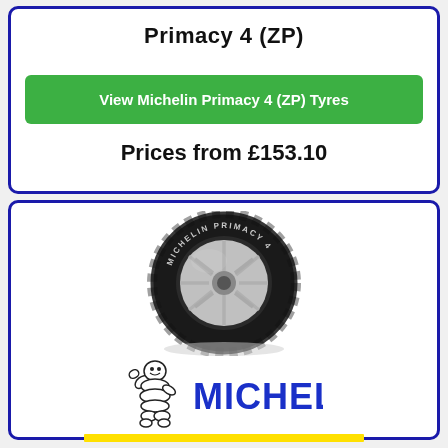Primacy 4 (ZP)
View Michelin Primacy 4 (ZP) Tyres
Prices from £153.10
[Figure (photo): Michelin Primacy 4 tyre product photo on white background]
[Figure (logo): Michelin logo with Bibendum mascot and MICHELIN wordmark in blue, with yellow bar underneath]